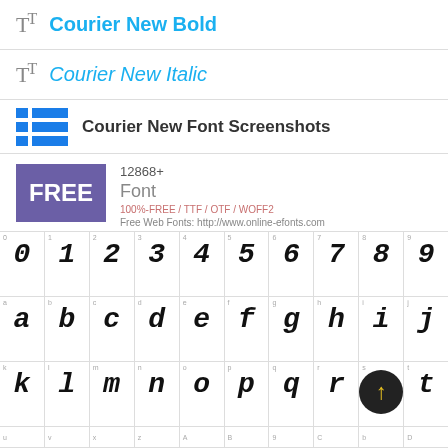Courier New Bold
Courier New Italic
Courier New Font Screenshots
[Figure (infographic): FREE badge with font info: 12868+ Font, 100% FREE / TTF / OTF / WOFF2, Free Web Fonts URL]
[Figure (screenshot): Courier New Bold Italic font character grid showing digits 0-9, lowercase letters a-j, k-r, and partial u-D row]
0 1 2 3 4 5 6 7 8 9 / a b c d e f g h i j / k l m n o p q r s t / u v ...